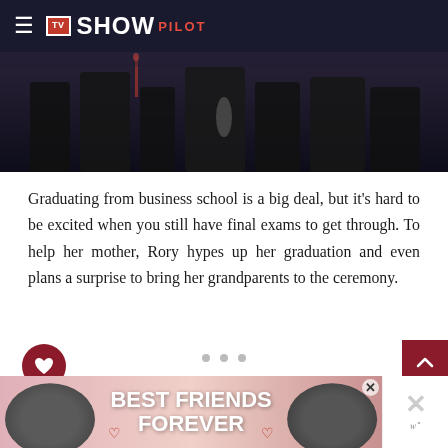TV SHOW PILOT
[Figure (photo): Dark photo of graduation ceremony scene, people in academic gowns holding diplomas]
Graduating from business school is a big deal, but it's hard to be excited when you still have final exams to get through. To help her mother, Rory hypes up her graduation and even plans a surprise to bring her grandparents to the ceremony.
[Figure (other): Heart/like button (dark red circle), share button, scroll-up button (dark red), pagination dots, advertisement banner reading BEST FRIENDS FOREVER with cat images]